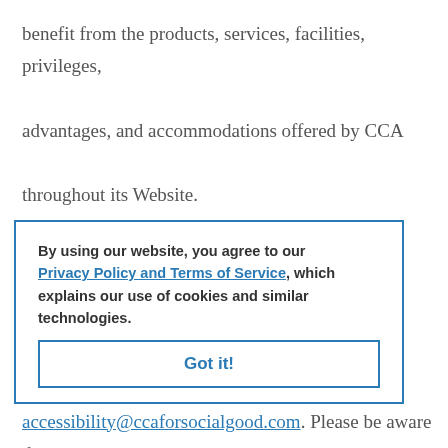benefit from the products, services, facilities, privileges, advantages, and accommodations offered by CCA throughout its Website.
Should you have any accessibility questions or concerns, please do not hesitate to contact CCA at accessibility@ccaforsocialgood.com. Please be aware that our efforts to provide an accessible Website are ongoing.
By using our website, you agree to our Privacy Policy and Terms of Service, which explains our use of cookies and similar technologies.
Got it!
If ... please be sure to specify the web page at issue in your email or communication to us, and we will make reasonable efforts to address your concern.
CCA is committed to making its Website accessible for all of its valued users.